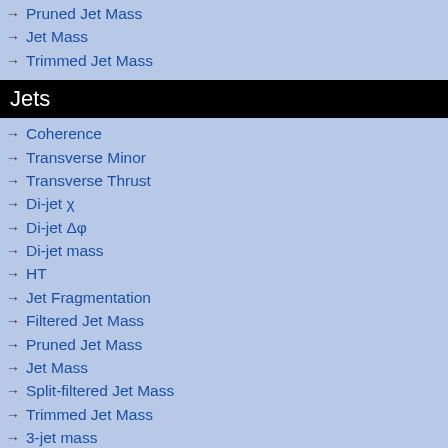→ Pruned Jet Mass
→ Jet Mass
→ Trimmed Jet Mass
Jets
→ Coherence
→ Transverse Minor
→ Transverse Thrust
→ Di-jet χ
→ Di-jet Δφ
→ Di-jet mass
→ HT
→ Jet Fragmentation
→ Filtered Jet Mass
→ Pruned Jet Mass
→ Jet Mass
→ Split-filtered Jet Mass
→ Trimmed Jet Mass
→ 3-jet mass
→ dσ(jet)/dpT
→ Jets + Veto
→ Gap fraction vs Δy
→ Gap fraction vs Δy (FB)
→ Gap fraction vs Δy (LJ)
ATLAS
7000 GeV pp